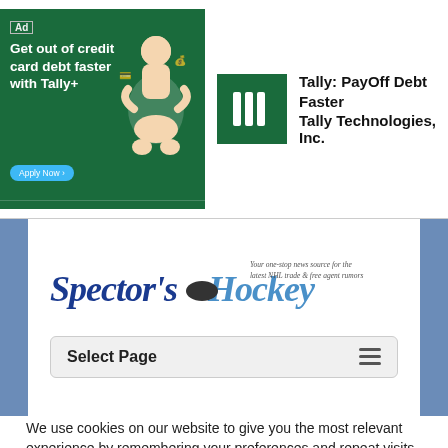[Figure (screenshot): Advertisement banner for Tally: Get out of credit card debt faster with Tally+. Green background with illustrated character. Ad label visible top left.]
Tally: PayOff Debt Faster
Tally Technologies, Inc.
[Figure (screenshot): Spector's Hockey website header with logo text and tagline: Your one-stop news source for the latest NHL trade & free agent rumors]
Select Page
We use cookies on our website to give you the most relevant experience by remembering your preferences and repeat visits. By clicking “Accept”, you consent to the use of ALL the cookies.
Do not sell my personal information.
Cookie Settings
Accept